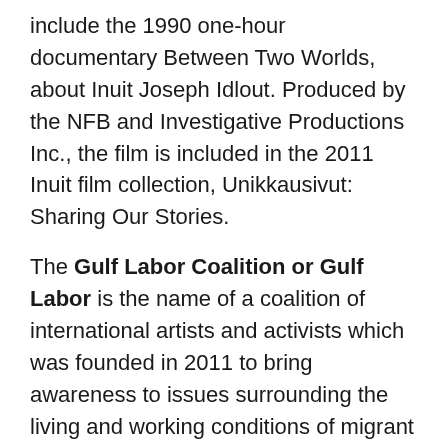include the 1990 one-hour documentary Between Two Worlds, about Inuit Joseph Idlout. Produced by the NFB and Investigative Productions Inc., the film is included in the 2011 Inuit film collection, Unikkausivut: Sharing Our Stories.
The Gulf Labor Coalition or Gulf Labor is the name of a coalition of international artists and activists which was founded in 2011 to bring awareness to issues surrounding the living and working conditions of migrant laborers responsible for building the Guggenheim Abu Dhabi, Louvre Abu Dhabi, and Sheikh Zayed Palace Museum on Abu Dhabi's Saadiyat Island, United Arab Emirates, along with other buildings on the island including a New York University Abu Dhabi campus.
Sylvia D. Hamilton is a Nova Scotian writer, filmmaker and artist whose awards include a Gemini, the Portia White Prize and honorary degrees and her films...